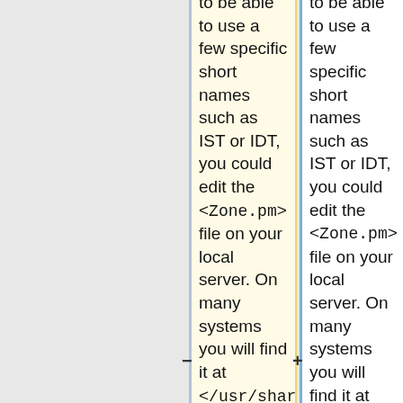to be able to use a few specific short names such as IST or IDT, you could edit the <code>Zone.pm</code> file on your local server. On many systems you will find it at <code>/usr/share/perl5/Time/Zone.pm</code>. However this will be hard to maintain. Another possibility is to contact the authors (Graham Barr
to be able to use a few specific short names such as IST or IDT, you could edit the <code>Zone.pm</code> file on your local server. On many systems you will find it at <code>/usr/share/perl5/Time/Zone.pm</code>. However this will be hard to maintain. Another possibility is to contact the authors (Graham Barr